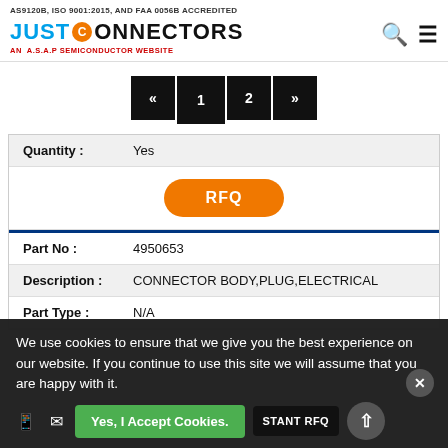AS9120B, ISO 9001:2015, AND FAA 0056B ACCREDITED — Just Connectors — An A.S.A.P Semiconductor Website
« 1 2 »
| Field | Value |
| --- | --- |
| Quantity : | Yes |
|  | RFQ |
| Part No : | 4950653 |
| Description : | CONNECTOR BODY,PLUG,ELECTRICAL |
| Part Type : | N/A |
We use cookies to ensure that we give you the best experience on our website. If you continue to use this site we will assume that you are happy with it.
Yes, I Accept Cookies.
INSTANT RFQ